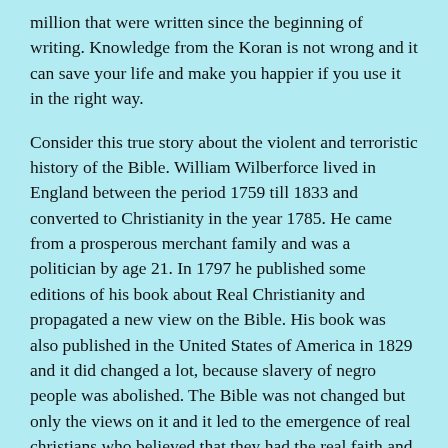million that were written since the beginning of writing. Knowledge from the Koran is not wrong and it can save your life and make you happier if you use it in the right way.
Consider this true story about the violent and terroristic history of the Bible. William Wilberforce lived in England between the period 1759 till 1833 and converted to Christianity in the year 1785. He came from a prosperous merchant family and was a politician by age 21. In 1797 he published some editions of his book about Real Christianity and propagated a new view on the Bible. His book was also published in the United States of America in 1829 and it did changed a lot, because slavery of negro people was abolished. The Bible was not changed but only the views on it and it led to the emergence of real christians who believed that they had the real faith and were not guilty of any crimes and terrorism, as were done during the colonial era by their ancestors. Before this period non, whites, colored and black people could not convert to Christianity and the white Christians believed that they were not humans ('lower apes'), and abused them as slaves, killing hundreds of millions of them. Therefore I find it strange and stupid if non-whites of our era convert to